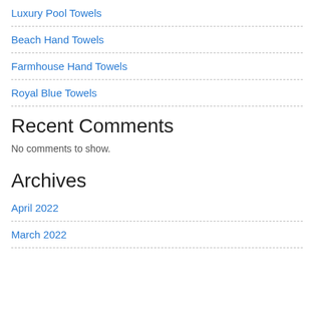Luxury Pool Towels
Beach Hand Towels
Farmhouse Hand Towels
Royal Blue Towels
Recent Comments
No comments to show.
Archives
April 2022
March 2022